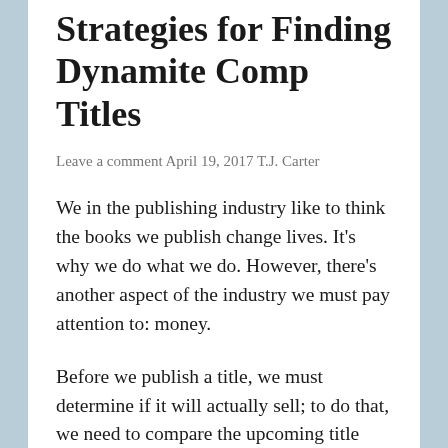Strategies for Finding Dynamite Comp Titles
Leave a comment April 19, 2017 T.J. Carter
We in the publishing industry like to think the books we publish change lives. It’s why we do what we do. However, there’s another aspect of the industry we must pay attention to: money.
Before we publish a title, we must determine if it will actually sell; to do that, we need to compare the upcoming title with similar books that are already on the market. That’s where comparative (comp) titles come in. For the